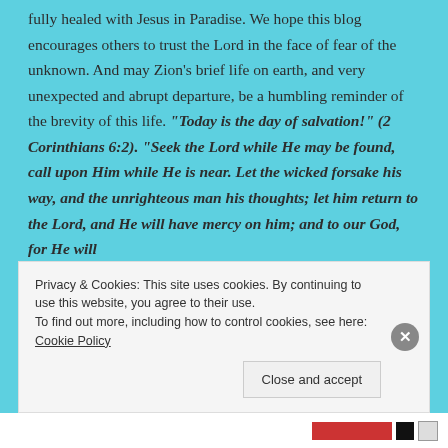fully healed with Jesus in Paradise. We hope this blog encourages others to trust the Lord in the face of fear of the unknown. And may Zion's brief life on earth, and very unexpected and abrupt departure, be a humbling reminder of the brevity of this life. "Today is the day of salvation!" (2 Corinthians 6:2). "Seek the Lord while He may be found, call upon Him while He is near. Let the wicked forsake his way, and the unrighteous man his thoughts; let him return to the Lord, and He will have mercy on him; and to our God, for He will
Privacy & Cookies: This site uses cookies. By continuing to use this website, you agree to their use. To find out more, including how to control cookies, see here: Cookie Policy